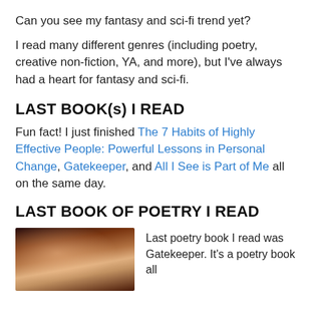Can you see my fantasy and sci-fi trend yet?
I read many different genres (including poetry, creative non-fiction, YA, and more), but I've always had a heart for fantasy and sci-fi.
LAST BOOK(s) I READ
Fun fact! I just finished The 7 Habits of Highly Effective People: Powerful Lessons in Personal Change, Gatekeeper, and All I See is Part of Me all on the same day.
LAST BOOK OF POETRY I READ
Last poetry book I read was Gatekeeper. It's a poetry book all
[Figure (photo): Dark photo of a person, appears to be a book cover image]